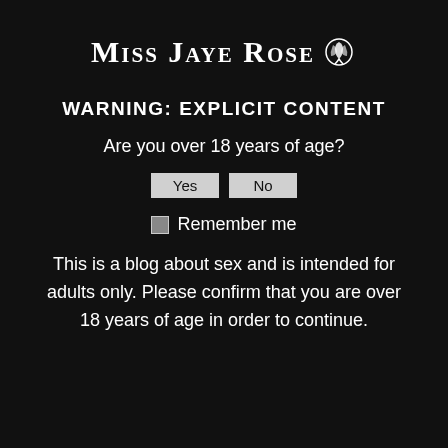Miss Jaye Rose 🌹
WARNING: EXPLICIT CONTENT
Are you over 18 years of age?
Yes  No
☐ Remember me
This is a blog about sex and is intended for adults only. Please confirm that you are over 18 years of age in order to continue.